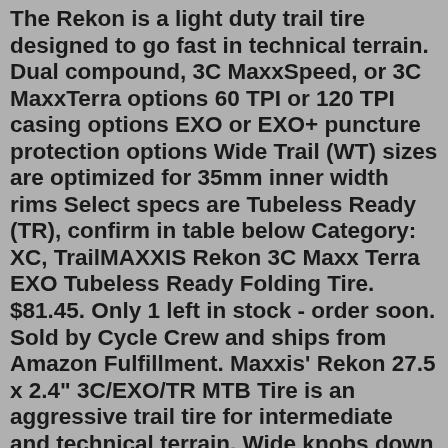The Rekon is a light duty trail tire designed to go fast in technical terrain. Dual compound, 3C MaxxSpeed, or 3C MaxxTerra options 60 TPI or 120 TPI casing options EXO or EXO+ puncture protection options Wide Trail (WT) sizes are optimized for 35mm inner width rims Select specs are Tubeless Ready (TR), confirm in table below Category: XC, TrailMAXXIS Rekon 3C Maxx Terra EXO Tubeless Ready Folding Tire. $81.45. Only 1 left in stock - order soon. Sold by Cycle Crew and ships from Amazon Fulfillment. Maxxis' Rekon 27.5 x 2.4" 3C/EXO/TR MTB Tire is an aggressive trail tire for intermediate and technical terrain. Wide knobs down the middle provide control under braking and L-shaped side knobs assure support when carving loose turns. 3C MaxxTerra is a softer tire compound offering more traction, better tread wear, and less rolling resistance. The Rekon is a light duty trail tire designed to go fast in technical terrain. Dual compound, 3C MaxxSpeed, or 3C MaxxTerra options 60 TPI or 120 TPI casing options EXO or EXO+ puncture protection options Wide